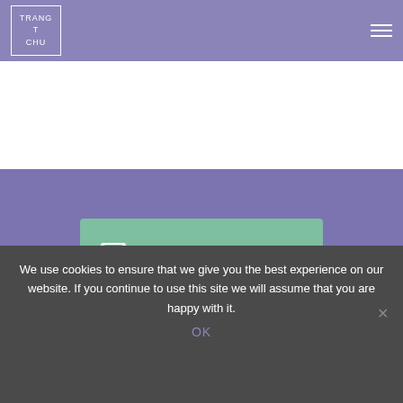[Figure (logo): Trang T Chu logo in white text inside a white-bordered square, on purple header background]
GET IN TOUCH
We use cookies to ensure that we give you the best experience on our website. If you continue to use this site we will assume that you are happy with it.
OK